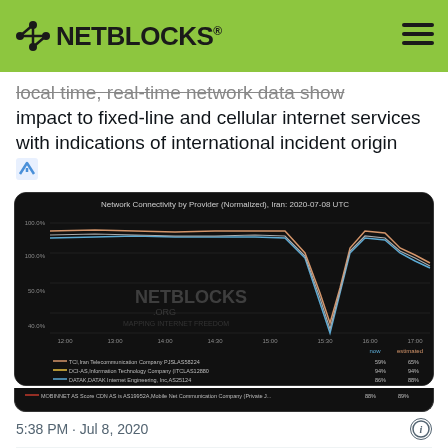NETBLOCKS®
local time, real-time network data show impact to fixed-line and cellular internet services with indications of international incident origin 🗺
[Figure (continuous-plot): Network Connectivity by Provider (Normalized), Iran: 2020-07-08 UTC. Line chart showing multiple ISP connectivity lines (orange, blue, white) with a significant dip around 15:00-17:00 UTC. Legend shows: TCI,Iran Telecommunication Company PJSAS58224 59% 65%; DCI-AS,Information Technology Company (ITCLAS12880 94% 94%; DATAK,DATAK Internet Engineering, Inc,AS25124 86% 88%; MOBINNET AS Score CDN AS is AS19952A,Mobile Net Communication Company (Private J... 88% 89%]
5:38 PM · Jul 8, 2020
420   Reply   Copy link